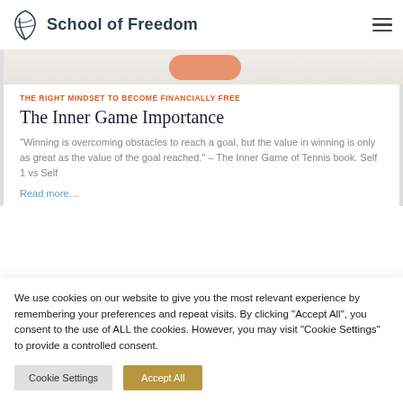School of Freedom
[Figure (photo): Partial image strip showing an orange rounded shape against a light beige background, appearing to be the bottom of an article image]
THE RIGHT MINDSET TO BECOME FINANCIALLY FREE
The Inner Game Importance
“Winning is overcoming obstacles to reach a goal, but the value in winning is only as great as the value of the goal reached.” – The Inner Game of Tennis book. Self 1 vs Self
Read more…
We use cookies on our website to give you the most relevant experience by remembering your preferences and repeat visits. By clicking “Accept All”, you consent to the use of ALL the cookies. However, you may visit “Cookie Settings” to provide a controlled consent.